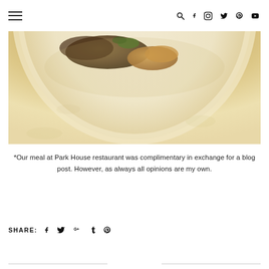Navigation header with hamburger menu and social icons (search, facebook, instagram, twitter, pinterest, youtube)
[Figure (photo): Close-up photograph of a dish served on a white plate at Park House restaurant, showing food items including what appears to be mushrooms, croutons or bread, and green herbs on a cream-colored plate, photographed from above.]
*Our meal at Park House restaurant was complimentary in exchange for a blog post. However, as always all opinions are my own.
SHARE: [facebook] [twitter] [google+] [tumblr] [pinterest]